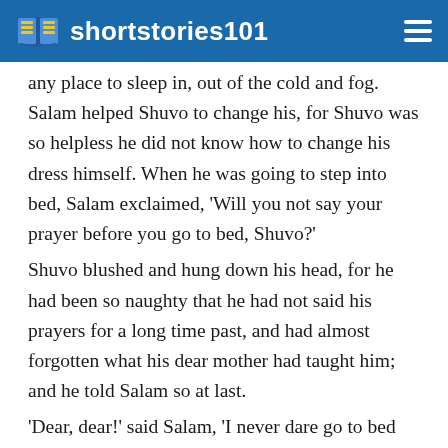shortstories101
any place to sleep in, out of the cold and fog. Salam helped Shuvo to change his, for Shuvo was so helpless he did not know how to change his dress himself. When he was going to step into bed, Salam exclaimed, 'Will you not say your prayer before you go to bed, Shuvo?'
Shuvo blushed and hung down his head, for he had been so naughty that he had not said his prayers for a long time past, and had almost forgotten what his dear mother had taught him; and he told Salam so at last.
'Dear, dear!' said Salam, 'I never dare go to bed without saying mine.'
Then Shuvo said, 'I am sorry I have been so